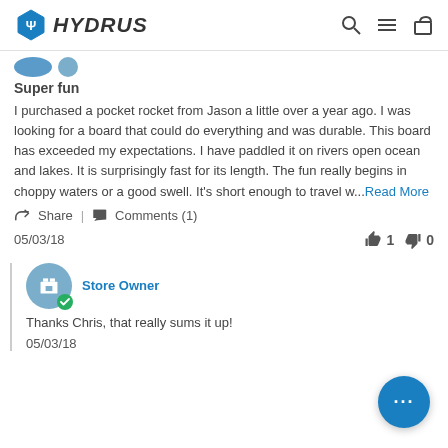HYDRUS
Super fun
I purchased a pocket rocket from Jason a little over a year ago. I was looking for a board that could do everything and was durable. This board has exceeded my expectations. I have paddled it on rivers open ocean and lakes. It is surprisingly fast for its length. The fun really begins in choppy waters or a good swell. It's short enough to travel w...Read More
Share | Comments (1)
05/03/18   👍 1  👎 0
Store Owner
Thanks Chris, that really sums it up!
05/03/18